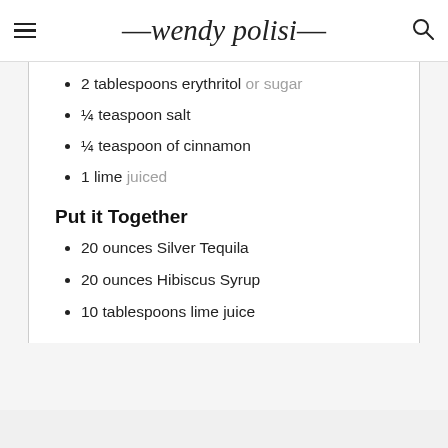wendy polisi
2 tablespoons erythritol or sugar
¼ teaspoon salt
¼ teaspoon of cinnamon
1 lime juiced
Put it Together
20 ounces Silver Tequila
20 ounces Hibiscus Syrup
10 tablespoons lime juice